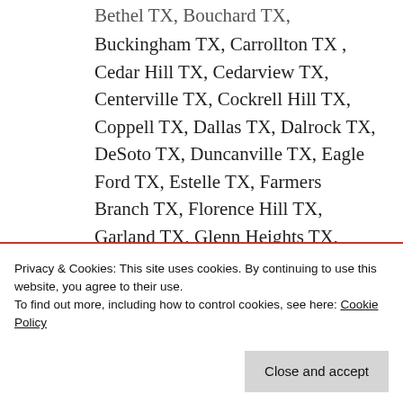Bethel TX, Bouchard TX, Buckingham TX, Carrollton TX , Cedar Hill TX, Cedarview TX, Centerville TX, Cockrell Hill TX, Coppell TX, Dallas TX, Dalrock TX, DeSoto TX, Duncanville TX, Eagle Ford TX, Estelle TX, Farmers Branch TX, Florence Hill TX, Garland TX, Glenn Heights TX, Grand Prairie TX, Gribble TX, Highland Park TX, Hutchins TX, ...
Privacy & Cookies: This site uses cookies. By continuing to use this website, you agree to their use.
To find out more, including how to control cookies, see here: Cookie Policy